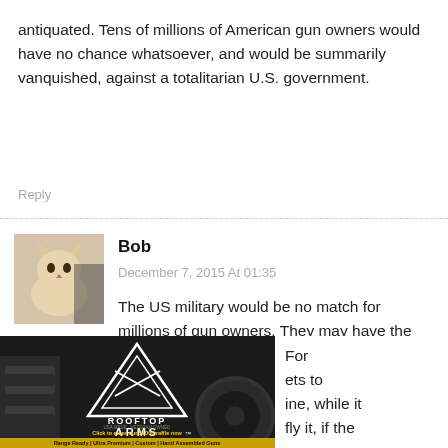antiquated. Tens of millions of American gun owners would have no chance whatsoever, and would be summarily vanquished, against a totalitarian U.S. government.
Reply
Bob
December 7, 2015 At 01:35
[Figure (photo): Avatar image of a cat/dog]
The US military would be no match for millions of gun owners. They may have the advantage of better weaponry, but it is spread all over the country and impossible to defend. Most of their weaponry would be damaged or
[Figure (photo): Rooftop Arms advertisement banner with guns visible and text: Range Ready | Ultra Premium | Custom | Hand Assembled Guns, Click to enter our $1000 raffle now, USA MADE - VETERAN OWNED]
For ets to ine, while it fly it, if the